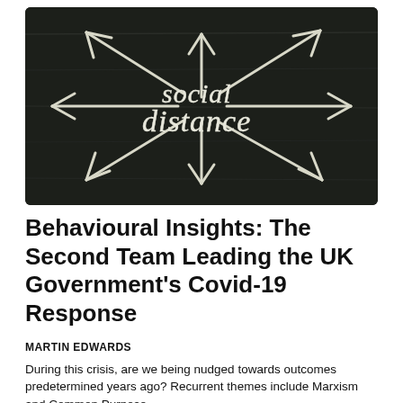[Figure (photo): A dark chalkboard with chalk-drawn arrows pointing outward in multiple directions (up-left, up, up-right, left, right, down-left, down, down-right) from a central point. In the center, cursive/chalk handwritten text reads 'social distance'. The overall image illustrates the concept of social distancing with arrows radiating outward.]
Behavioural Insights: The Second Team Leading the UK Government's Covid-19 Response
MARTIN EDWARDS
During this crisis, are we being nudged towards outcomes predetermined years ago? Recurrent themes include Marxism and Common Purpose.